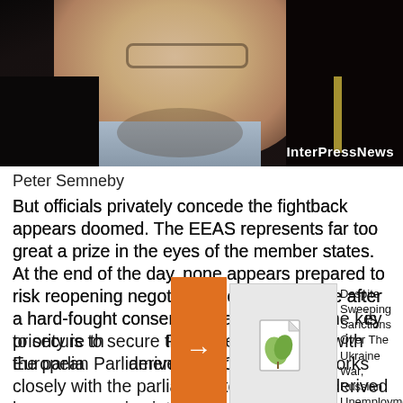[Figure (photo): Close-up photo of Peter Semneby, a man with glasses and short beard, wearing a dark jacket over a light blue shirt. Dark background. InterPressNews watermark in bottom right.]
Peter Semneby
But officials privately concede the fightback appears doomed. The EEAS represents far too great a prize in the eyes of the member states. At the end of the day, none appears prepared to risk reopening negotiations on its structure after a hard-fought consensus was reached. The European Parliament's job is to secure the best deal it can with the European Parliament. The Parliament derives its power with the parliament derived leverage
[Figure (other): Related article thumbnail with leaf/document icon on grey background, partially obscured by orange arrow overlay. Headline: Despite Sweeping Sanctions Over The Ukraine War, Russian Unemployment Touches Post-Soviet Low. Here's Why.]
Despite Sweeping Sanctions Over The Ukraine War, Russian Unemployment Touches Post-Soviet Low. Here's Why.